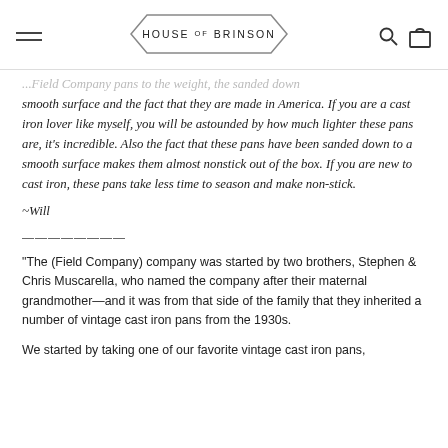HOUSE OF BRINSON
...Field Company pans to the weight, the sanded down smooth surface and the fact that they are made in America. If you are a cast iron lover like myself, you will be astounded by how much lighter these pans are, it's incredible. Also the fact that these pans have been sanded down to a smooth surface makes them almost nonstick out of the box. If you are new to cast iron, these pans take less time to season and make non-stick.
~Will
————————
"The (Field Company) company was started by two brothers, Stephen & Chris Muscarella, who named the company after their maternal grandmother—and it was from that side of the family that they inherited a number of vintage cast iron pans from the 1930s.
We started by taking one of our favorite vintage cast iron pans,